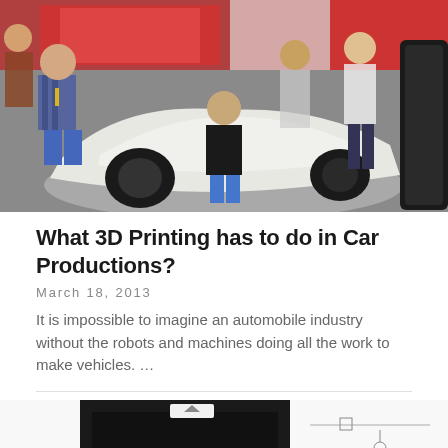[Figure (photo): Group of people posing around a white 3D-printed car body at what appears to be a trade show or exhibition. One person in a plaid shirt is crouching on the left, others are standing and kneeling around the vehicle.]
What 3D Printing has to do in Car Productions?
March 18, 2013
It is impossible to imagine an automobile industry without the robots and machines doing all the work to make vehicles. …
[Figure (photo): Partial view of a 3D printer with a dark enclosure on the left side and what appears to be a schematic or diagram on white background on the right side.]